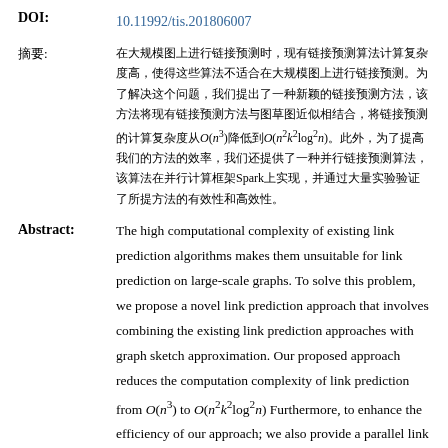DOI: 10.11992/tis.201806007
摘要: [Chinese abstract text about link prediction complexity O(n³) to O(n²k²log²n) and Spark parallel computing framework]
Abstract: The high computational complexity of existing link prediction algorithms makes them unsuitable for link prediction on large-scale graphs. To solve this problem, we propose a novel link prediction approach that involves combining the existing link prediction approaches with graph sketch approximation. Our proposed approach reduces the computation complexity of link prediction from O(n³) to O(n²k²log²n) Furthermore, to enhance the efficiency of our approach; we also provide a parallel link prediction algorithm, which is implemented on the parallel computing framework Apache Spark. Finally, we conducted extensive